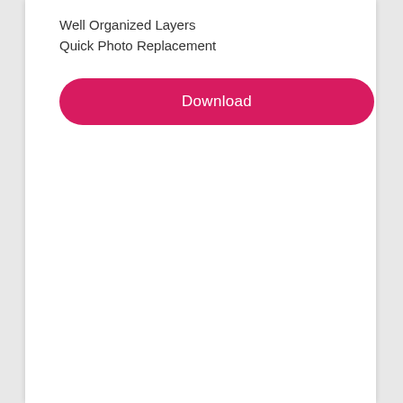Well Organized Layers
Quick Photo Replacement
Download